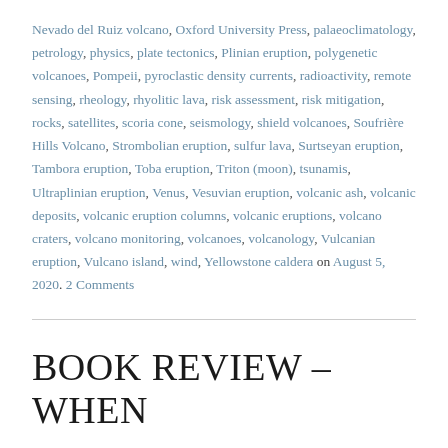Nevado del Ruiz volcano, Oxford University Press, palaeoclimatology, petrology, physics, plate tectonics, Plinian eruption, polygenetic volcanoes, Pompeii, pyroclastic density currents, radioactivity, remote sensing, rheology, rhyolitic lava, risk assessment, risk mitigation, rocks, satellites, scoria cone, seismology, shield volcanoes, Soufrière Hills Volcano, Strombolian eruption, sulfur lava, Surtseyan eruption, Tambora eruption, Toba eruption, Triton (moon), tsunamis, Ultraplinian eruption, Venus, Vesuvian eruption, volcanic ash, volcanic deposits, volcanic eruption columns, volcanic eruptions, volcano craters, volcano monitoring, volcanoes, volcanology, Vulcanian eruption, Vulcano island, wind, Yellowstone caldera on August 5, 2020. 2 Comments
BOOK REVIEW – WHEN